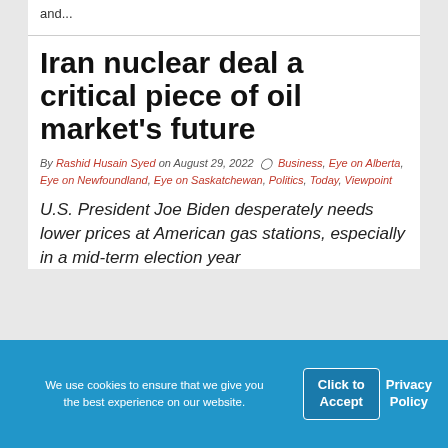and...
Iran nuclear deal a critical piece of oil market's future
By Rashid Husain Syed on August 29, 2022  Business, Eye on Alberta, Eye on Newfoundland, Eye on Saskatchewan, Politics, Today, Viewpoint
U.S. President Joe Biden desperately needs lower prices at American gas stations, especially in a mid-term election year
We use cookies to ensure that we give you the best experience on our website.  Click to Accept  Privacy Policy